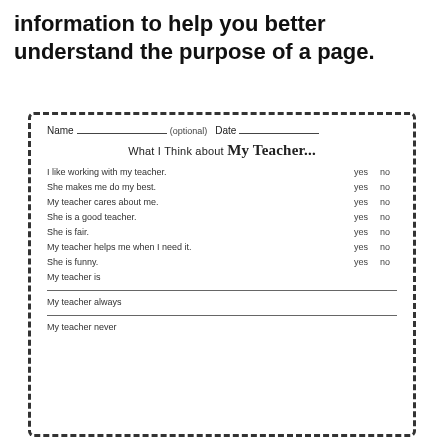information to help you better understand the purpose of a page.
[Figure (other): Student survey worksheet titled 'What I Think about My Teacher...' with yes/no questions and open-ended prompts, surrounded by a dashed border.]